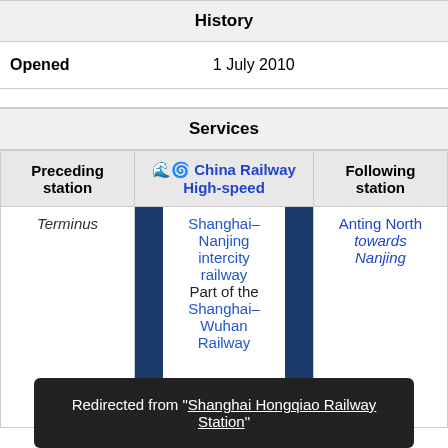History
| Opened | 1 July 2010 |
| --- | --- |
Services
| Preceding station | China Railway High-speed | Following station |
| --- | --- | --- |
| Terminus | Shanghai–Nanjing intercity railway Part of the Shanghai–Wuhan Railway | Anting North towards Nanjing |
Redirected from "Shanghai Hongqiao Railway Station"